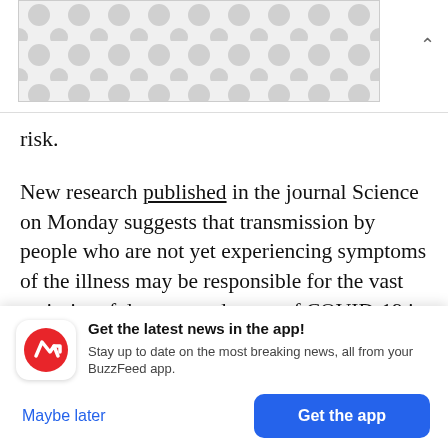[Figure (other): Advertisement banner placeholder with grey dot pattern]
risk.
New research published in the journal Science on Monday suggests that transmission by people who are not yet experiencing symptoms of the illness may be responsible for the vast majority of documented cases of COVID-19 in China.
Get the latest news in the app! Stay up to date on the most breaking news, all from your BuzzFeed app.
Maybe later
Get the app